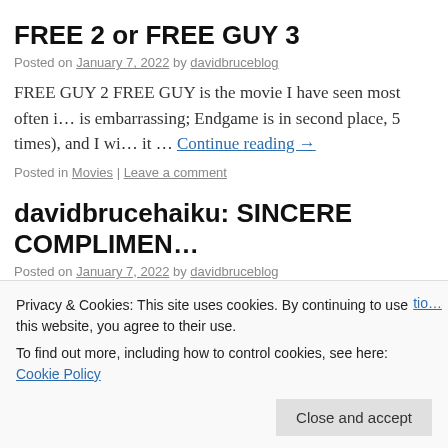FREE 2 or FREE GUY 3
Posted on January 7, 2022 by davidbruceblog
FREE GUY 2 FREE GUY is the movie I have seen most often i... is embarrassing; Endgame is in second place, 5 times), and I wi... it … Continue reading →
Posted in Movies | Leave a comment
davidbrucehaiku: SINCERE COMPLIMEN…
Posted on January 7, 2022 by davidbruceblog
Privacy & Cookies: This site uses cookies. By continuing to use this website, you agree to their use.
To find out more, including how to control cookies, see here: Cookie Policy
Close and accept